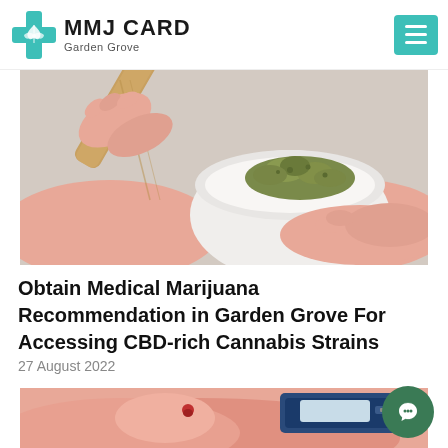MMJ CARD Garden Grove
[Figure (photo): Close-up of hands holding a wooden pestle over a white mortar bowl containing cannabis flower buds on a light background]
Obtain Medical Marijuana Recommendation in Garden Grove For Accessing CBD-rich Cannabis Strains
27 August 2022
[Figure (photo): Close-up of hands doing a blood glucose test with a glucometer device]